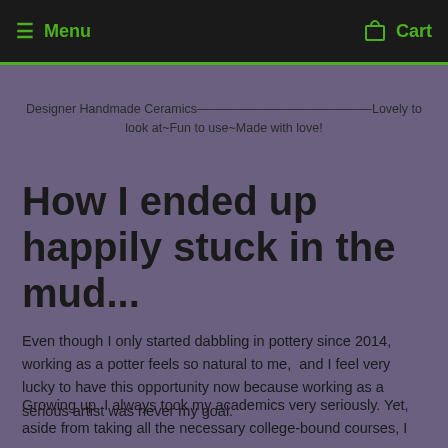Menu  Cart
Designer Handmade Ceramics----------------------------Lovely to look at~Fun to use~Made with love!
How I ended up happily stuck in the mud...
Even though I only started dabbling in pottery since 2014, working as a potter feels so natural to me,  and I feel very lucky to have this opportunity now because working as a serious artist was never my goal.
Growing up, I always took my academics very seriously. Yet, aside from taking all the necessary college-bound courses, I